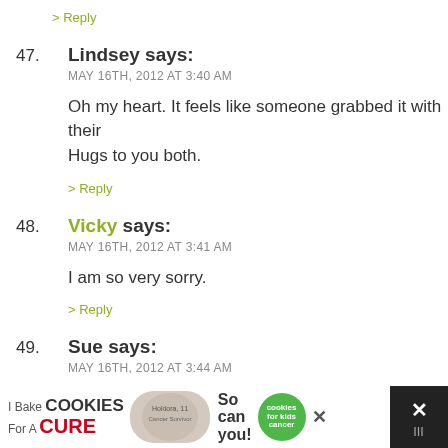of you.
> Reply
47. Lindsey says: MAY 16TH, 2012 AT 3:40 AM — Oh my heart. It feels like someone grabbed it with their Hugs to you both. > Reply
48. Vicky says: MAY 16TH, 2012 AT 3:41 AM — I am so very sorry. > Reply
49. Sue says: MAY 16TH, 2012 AT 3:44 AM — Oh,,Heather & Mike,,,,I cannot begin to tell you how so...
[Figure (screenshot): Advertisement banner: I Bake COOKIES For A CURE - So can you! - Holdora, 11 Cancer Survivor - with green cookies for kids cancer badge and close buttons]